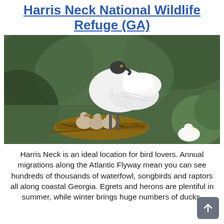Harris Neck National Wildlife Refuge (GA)
[Figure (photo): A wood stork adult standing over a nest with several fluffy chicks, with another white egret visible in the lower right. Green foliage background.]
Harris Neck is an ideal location for bird lovers. Annual migrations along the Atlantic Flyway mean you can see hundreds of thousands of waterfowl, songbirds and raptors all along coastal Georgia. Egrets and herons are plentiful in summer, while winter brings huge numbers of ducks.